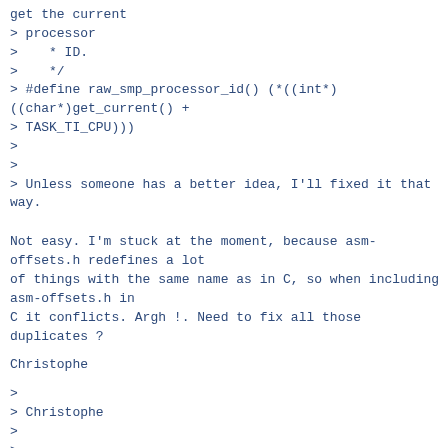get the current
> processor
>    * ID.
>    */
> #define raw_smp_processor_id() (*((int*)
((char*)get_current() +
> TASK_TI_CPU)))
>
>
> Unless someone has a better idea, I'll fixed it that
way.
Not easy. I'm stuck at the moment, because asm-
offsets.h redefines a lot
of things with the same name as in C, so when including
asm-offsets.h in
C it conflicts. Argh !. Need to fix all those
duplicates ?
Christophe
>
> Christophe
>
>
>>
>>    fs/timerfd.c          | 2 +-
>>    kernel/time/alarmtimer.c | 2 +-
>>    2 files changed, 2 insertions(+), 2 deletions(-)